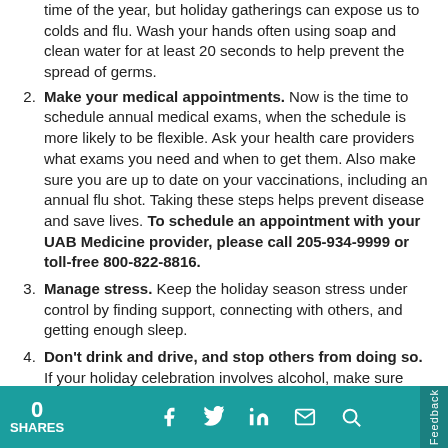time of the year, but holiday gatherings can expose us to colds and flu. Wash your hands often using soap and clean water for at least 20 seconds to help prevent the spread of germs.
Make your medical appointments. Now is the time to schedule annual medical exams, when the schedule is more likely to be flexible. Ask your health care providers what exams you need and when to get them. Also make sure you are up to date on your vaccinations, including an annual flu shot. Taking these steps helps prevent disease and save lives. To schedule an appointment with your UAB Medicine provider, please call 205-934-9999 or toll-free 800-822-8816.
Manage stress. Keep the holiday season stress under control by finding support, connecting with others, and getting enough sleep.
Don't drink and drive, and stop others from doing so. If your holiday celebration involves alcohol, make sure you have a designated driver, or consider a rideshare app. Drunk driving puts everyone on the road in danger.
0 SHARES | Facebook | Twitter | LinkedIn | Email | Search | Feedback